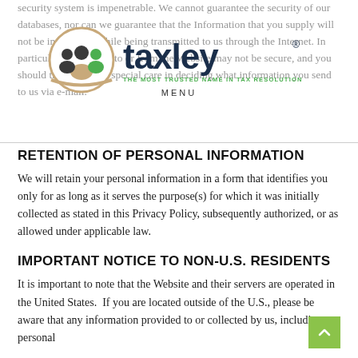security system is impenetrable. We cannot guarantee the security of our databases, nor can we guarantee that the Information that you supply will not be intercepted while being transmitted to us through the Internet. In particular, e-mail sent to or from the Website may not be secure, and you should therefore take special care in deciding what information you send to us via e-mail.
[Figure (logo): Taxley logo with circular icon showing people figures and text 'taxley' with tagline 'THE MOST TRUSTED NAME IN TAX RESOLUTION', with MENU label and hamburger icon]
RETENTION OF PERSONAL INFORMATION
We will retain your personal information in a form that identifies you only for as long as it serves the purpose(s) for which it was initially collected as stated in this Privacy Policy, subsequently authorized, or as allowed under applicable law.
IMPORTANT NOTICE TO NON-U.S. RESIDENTS
It is important to note that the Website and their servers are operated in the United States. If you are located outside of the U.S., please be aware that any information provided to or collected by us, including personal